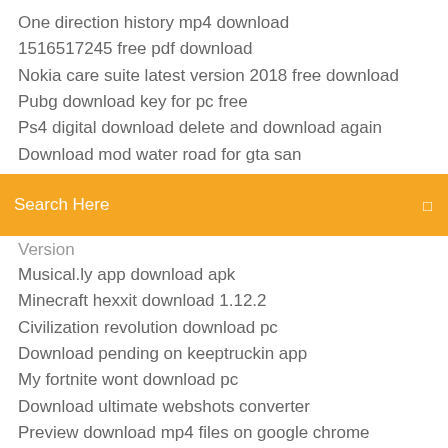One direction history mp4 download
1516517245 free pdf download
Nokia care suite latest version 2018 free download
Pubg download key for pc free
Ps4 digital download delete and download again
Download mod water road for gta san
[Figure (screenshot): Orange search bar with text 'Search Here' and a small icon on the right]
Version
Musical.ly app download apk
Minecraft hexxit download 1.12.2
Civilization revolution download pc
Download pending on keeptruckin app
My fortnite wont download pc
Download ultimate webshots converter
Preview download mp4 files on google chrome
Nokia 206 flash file latest v7.98 free download
Please download minecraft 12.1 though
Download google docs for pc free